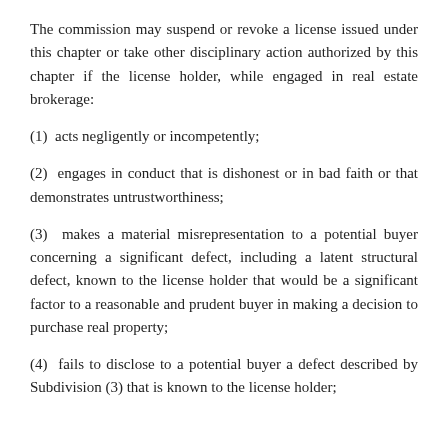The commission may suspend or revoke a license issued under this chapter or take other disciplinary action authorized by this chapter if the license holder, while engaged in real estate brokerage:
(1)  acts negligently or incompetently;
(2)  engages in conduct that is dishonest or in bad faith or that demonstrates untrustworthiness;
(3)  makes a material misrepresentation to a potential buyer concerning a significant defect, including a latent structural defect, known to the license holder that would be a significant factor to a reasonable and prudent buyer in making a decision to purchase real property;
(4)  fails to disclose to a potential buyer a defect described by Subdivision (3) that is known to the license holder;